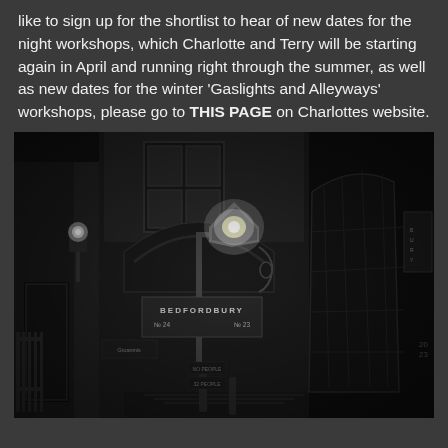like to sign up for the shortlist to hear of new dates for the night workshops, which Charlotte and Terry will be starting again in April and running right through the summer, as well as new dates for the winter 'Gaslights and Alleyways' workshops, please go to THIS PAGE on Charlottes website.
[Figure (photo): Black and white night photograph of a narrow Victorian alleyway with a lit gas lamp overhead, a 'BEDFORDBURY No 24 No 23' street sign visible, ornate ironwork, brick buildings with large dark windows on the right, and dim atmospheric lighting.]